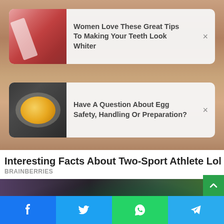[Figure (screenshot): Background photo of person with tattoos]
Women Love These Great Tips To Making Your Teeth Look Whiter
Have A Question About Egg Safety, Handling Or Preparation?
Interesting Facts About Two-Sport Athlete Lolo Jones
BRAINBERRIES
[Figure (photo): Dark fantasy/tattoo themed image at bottom]
[Figure (infographic): Social share bar with Facebook, Twitter, WhatsApp, Telegram buttons]